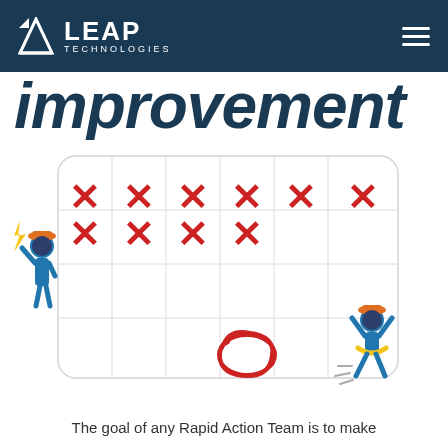LEAP TECHNOLOGIES
improvement
[Figure (illustration): A calendar/grid illustration showing X marks in the first two rows and several empty cells, with a red circle drawn in the bottom area. A blue stick figure worker wearing an orange hard hat holds a lightning bolt on the left side. A celebrating blue stick figure with arms raised wears an orange hard hat on the right side, with speed lines suggesting movement.]
The goal of any Rapid Action Team is to make